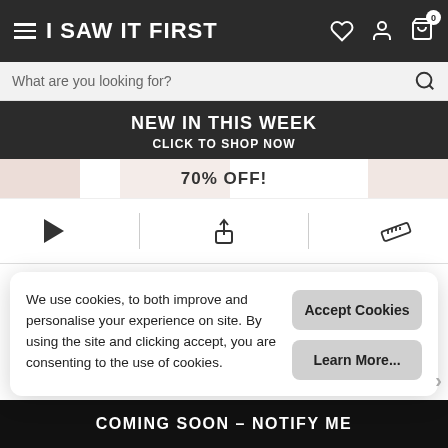I SAW IT FIRST
What are you looking for?
NEW IN THIS WEEK
CLICK TO SHOP NOW
70% OFF!
Black/White Woven Check Print Deep Plunge Pinafore Dress
We use cookies, to both improve and personalise your experience on site. By using the site and clicking accept, you are consenting to the use of cookies.
Accept Cookies
Learn More...
COMING SOON – NOTIFY ME